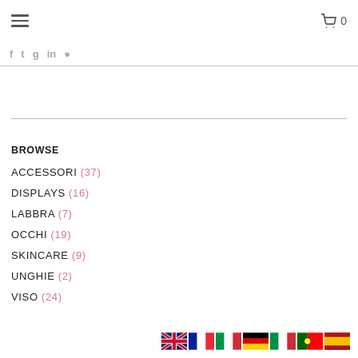≡  🛒 0
f  t  g  in  p (social media icons)
BROWSE
ACCESSORI (37)
DISPLAYS (16)
LABBRA (7)
OCCHI (19)
SKINCARE (9)
UNGHIE (2)
VISO (24)
[Figure (other): Row of country flag icons: UK, France, Italy, Germany, Italy, Portugal, Spain]